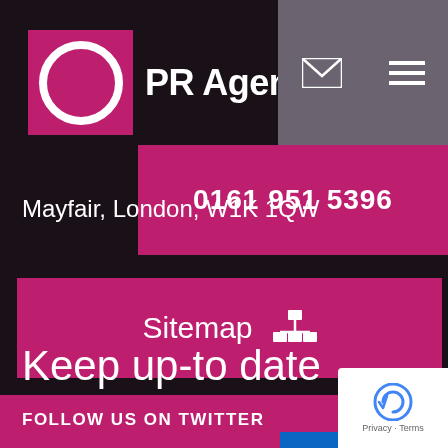[Figure (logo): PR Agency One logo — white circle with pink inner circle on pink square, with text 'PR Agency One' where 'One' is in pink]
0161 951 5396
Mayfair, London, W1K 1QW
Sitemap
Keep up-to date
FOLLOW US ON TWITTER
CONNECT WITH US ON LINKEDIN